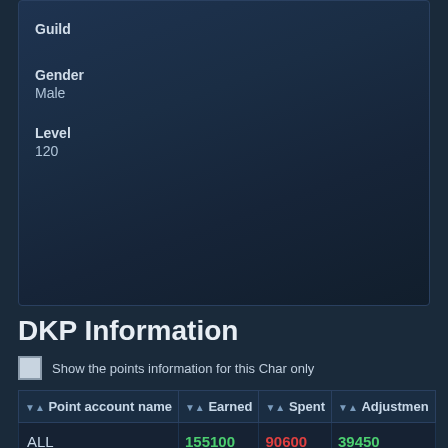Guild
Gender
Male
Level
120
DKP Information
Show the points information for this Char only
| Point account name | Earned | Spent | Adjustment |
| --- | --- | --- | --- |
| ALL | 155100 | 90600 | 39450 |
Raids
Items
Adjustments